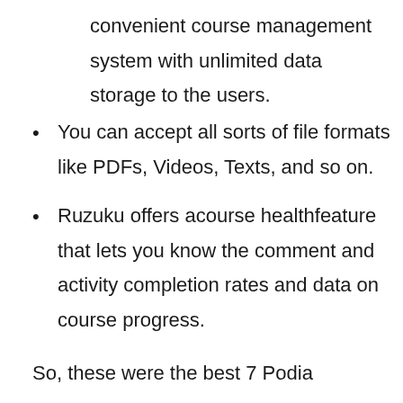convenient course management system with unlimited data storage to the users.
You can accept all sorts of file formats like PDFs, Videos, Texts, and so on.
Ruzuku offers acourse healthfeature that lets you know the comment and activity completion rates and data on course progress.
So, these were the best 7 Podia